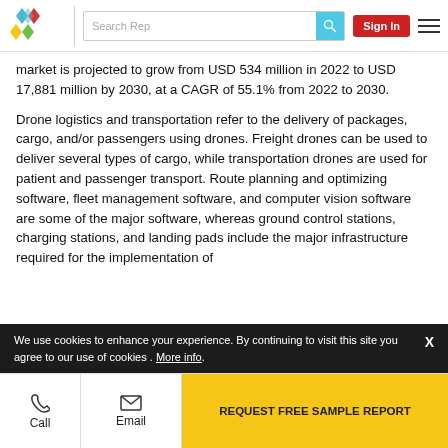Search Rep | Sign In
market is projected to grow from USD 534 million in 2022 to USD 17,881 million by 2030, at a CAGR of 55.1% from 2022 to 2030.
Drone logistics and transportation refer to the delivery of packages, cargo, and/or passengers using drones. Freight drones can be used to deliver several types of cargo, while transportation drones are used for patient and passenger transport. Route planning and optimizing software, fleet management software, and computer vision software are some of the major software, whereas ground control stations, charging stations, and landing pads include the major infrastructure required for the implementation of
We use cookies to enhance your experience. By continuing to visit this site you agree to our use of cookies . More info.
Call | Email | REQUEST FREE SAMPLE REPORT